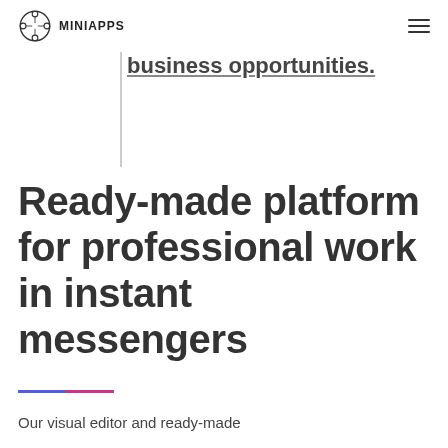MINIAPPS
business opportunities.
Ready-made platform for professional work in instant messengers
Our visual editor and ready-made